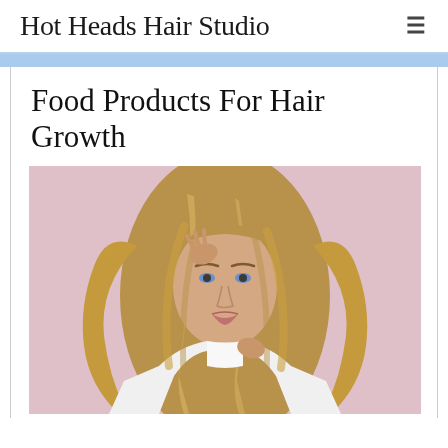Hot Heads Hair Studio
Food Products For Hair Growth
[Figure (photo): Young woman with long, voluminous wavy blonde hair, wearing a white crop top, posing with hands in hair against a pink background]